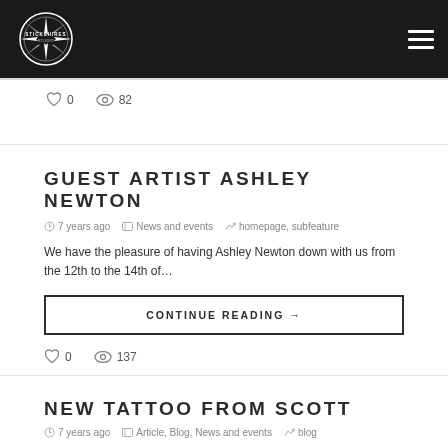Stickshires Studio — navigation header with logo and hamburger menu
0   82
GUEST ARTIST ASHLEY NEWTON
7 years ago   News and events   homepage, subfeature
We have the pleasure of having Ashley Newton down with us from the 12th to the 14th of...
CONTINUE READING →
0   137
NEW TATTOO FROM SCOTT
7 years ago   Article, Blog, News and events   blog